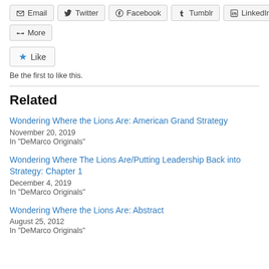Email
Twitter
Facebook
Tumblr
LinkedIn
More
Be the first to like this.
Related
Wondering Where the Lions Are: American Grand Strategy
November 20, 2019
In "DeMarco Originals"
Wondering Where The Lions Are/Putting Leadership Back into Strategy: Chapter 1
December 4, 2019
In "DeMarco Originals"
Wondering Where the Lions Are: Abstract
August 25, 2012
In "DeMarco Originals"